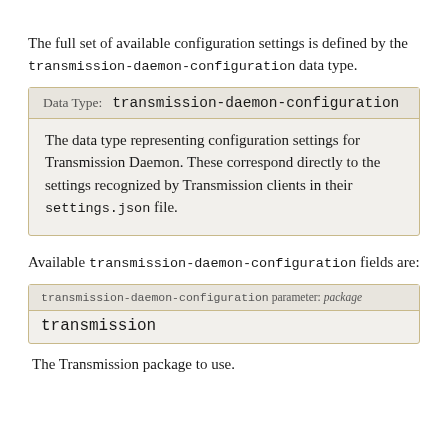The full set of available configuration settings is defined by the transmission-daemon-configuration data type.
| Data Type: | transmission-daemon-configuration |
| --- | --- |
The data type representing configuration settings for Transmission Daemon. These correspond directly to the settings recognized by Transmission clients in their settings.json file.
Available transmission-daemon-configuration fields are:
| transmission-daemon-configuration parameter: package | transmission |
| --- | --- |
The Transmission package to use.